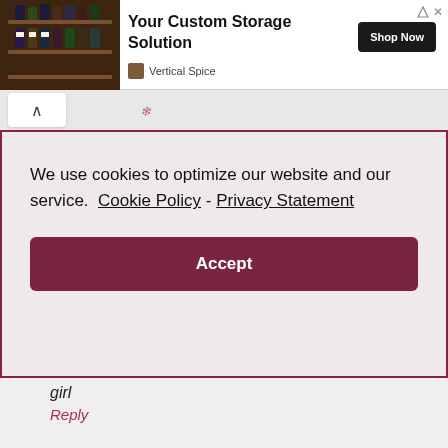[Figure (other): Advertisement banner for Vertical Spice showing spice rack image with headline 'Your Custom Storage Solution', brand name 'Vertical Spice', and a 'Shop Now' button. Also includes close and ad-info icons top right.]
We use cookies to optimize our website and our service.  Cookie Policy - Privacy Statement
Accept
girl
Reply